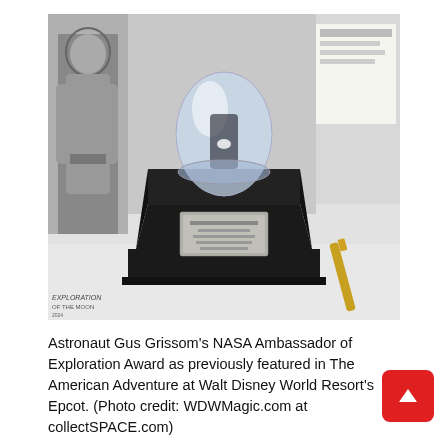[Figure (photo): A black and white photograph showing a museum display with a NASA Ambassador of Exploration Award — a crystal/acrylic teardrop-shaped object on a black geometric base with a silver plaque — along with a black and white photo of an astronaut in a spacesuit on the left, a card/label on the right, and a gold pen in the bottom right corner.]
Astronaut Gus Grissom's NASA Ambassador of Exploration Award as previously featured in The American Adventure at Walt Disney World Resort's Epcot. (Photo credit: WDWMagic.com at collectSPACE.com)